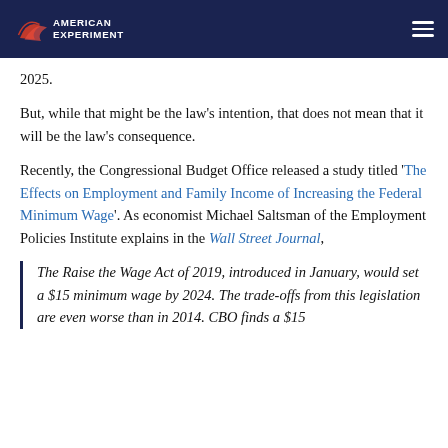American Experiment
2025.
But, while that might be the law's intention, that does not mean that it will be the law's consequence.
Recently, the Congressional Budget Office released a study titled 'The Effects on Employment and Family Income of Increasing the Federal Minimum Wage'. As economist Michael Saltsman of the Employment Policies Institute explains in the Wall Street Journal,
The Raise the Wage Act of 2019, introduced in January, would set a $15 minimum wage by 2024. The trade-offs from this legislation are even worse than in 2014. CBO finds a $15